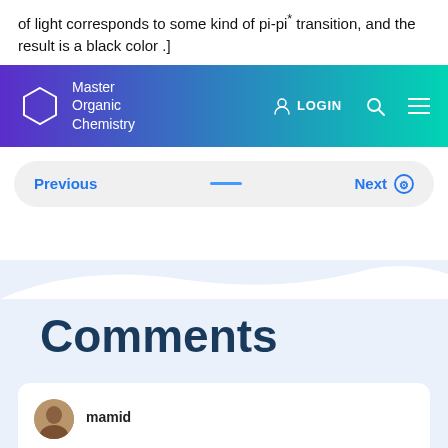of light corresponds to some kind of pi-pi* transition, and the result is a black color .]
[Figure (screenshot): Navigation bar for Master Organic Chemistry website with gradient background (purple to teal), hexagon logo, LOGIN button, search icon, and hamburger menu icon]
[Figure (screenshot): Pagination navigation bar with Previous and Next links on a light gray rounded pill background]
Comments
[Figure (screenshot): Start of a comment card with user avatar and author name 'mamid']